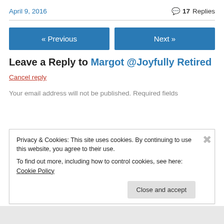April 9, 2016   💬 17 Replies
« Previous   Next »
Leave a Reply to Margot @Joyfully Retired
Cancel reply
Your email address will not be published. Required fields
Privacy & Cookies: This site uses cookies. By continuing to use this website, you agree to their use. To find out more, including how to control cookies, see here: Cookie Policy
Close and accept